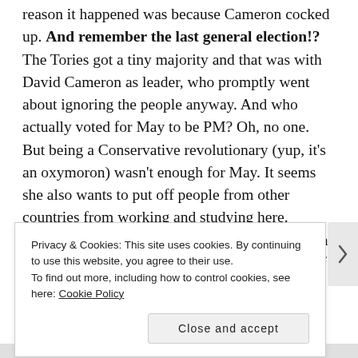reason it happened was because Cameron cocked up. And remember the last general election!? The Tories got a tiny majority and that was with David Cameron as leader, who promptly went about ignoring the people anyway. And who actually voted for May to be PM? Oh, no one. But being a Conservative revolutionary (yup, it's an oxymoron) wasn't enough for May. It seems she also wants to put off people from other countries from working and studying here. Remember Brexit!? Hasn't Britain done enough already in telling the rest of the world to fuck off and scapegoating immigrants.
Fortunately she wants us to be less selfish and
Privacy & Cookies: This site uses cookies. By continuing to use this website, you agree to their use.
To find out more, including how to control cookies, see here: Cookie Policy
Close and accept